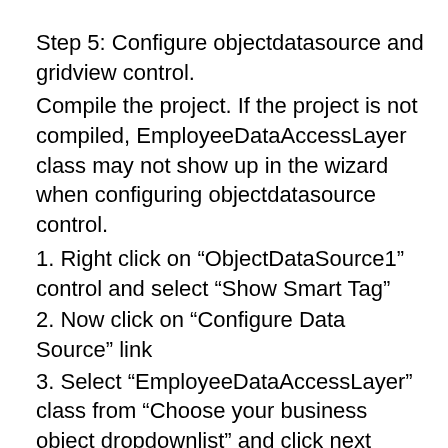Step 5: Configure objectdatasource and gridview control.
Compile the project. If the project is not compiled, EmployeeDataAccessLayer class may not show up in the wizard when configuring objectdatasource control.
1. Right click on “ObjectDataSource1” control and select “Show Smart Tag”
2. Now click on “Configure Data Source” link
3. Select “EmployeeDataAccessLayer” class from “Choose your business object dropdownlist” and click next
4. On “Define Data Methods” screen, select